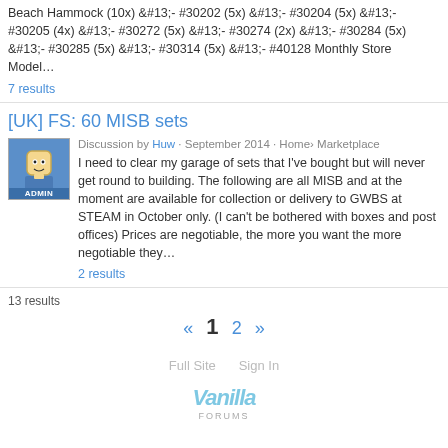Beach Hammock (10x) &#13;- #30202 (5x) &#13;- #30204 (5x) &#13;- #30205 (4x) &#13;- #30272 (5x) &#13;- #30274 (2x) &#13;- #30284 (5x) &#13;- #30285 (5x) &#13;- #30314 (5x) &#13;- #40128 Monthly Store Model… 7 results
[UK] FS: 60 MISB sets
Discussion by Huw · September 2014 · Home› Marketplace
I need to clear my garage of sets that I've bought but will never get round to building. The following are all MISB and at the moment are available for collection or delivery to GWBS at STEAM in October only. (I can't be bothered with boxes and post offices) Prices are negotiable, the more you want the more negotiable they… 2 results
13 results
« 1 2 »
Full Site   Sign In